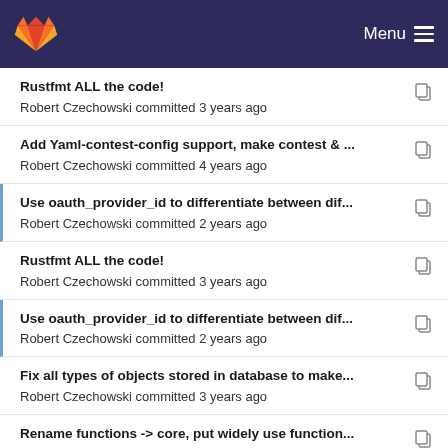Menu
Rustfmt ALL the code!
Robert Czechowski committed 3 years ago
Add Yaml-contest-config support, make contest & ...
Robert Czechowski committed 4 years ago
Use oauth_provider_id to differentiate between dif...
Robert Czechowski committed 2 years ago
Rustfmt ALL the code!
Robert Czechowski committed 3 years ago
Use oauth_provider_id to differentiate between dif...
Robert Czechowski committed 2 years ago
Fix all types of objects stored in database to make...
Robert Czechowski committed 3 years ago
Rename functions -> core, put widely use function...
Robert Czechowski committed 3 years ago